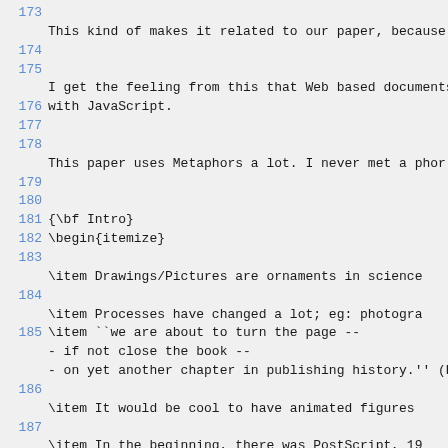173
This kind of makes it related to our paper, because it i
174
175
I get the feeling from this that Web based documents are
176 with JavaScript.
177
178
This paper uses Metaphors a lot. I never met a phor that
179
180
181 {\bf Intro}
182 \begin{itemize}
183
     \item Drawings/Pictures are ornaments in science
184
     \item Processes have changed a lot; eg: photogra
185       \item ``we are about to turn the page --
- if not close the book --
- on yet another chapter in publishing history.'' (HO HO
186
     \item It would be cool to have animated figures
187
     \item In the beginning, there was PostScript, 19
188